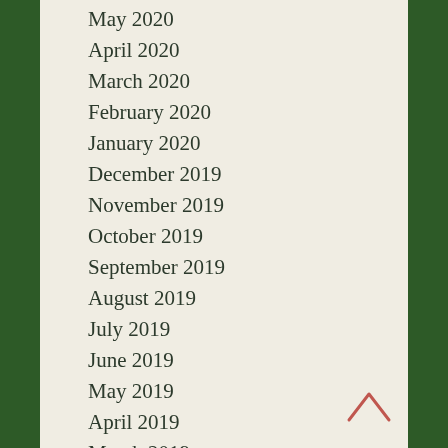May 2020
April 2020
March 2020
February 2020
January 2020
December 2019
November 2019
October 2019
September 2019
August 2019
July 2019
June 2019
May 2019
April 2019
March 2019
February 2019